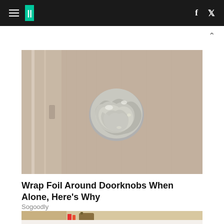HuffPost — navigation header with hamburger menu, logo, Facebook and Twitter icons
[Figure (photo): Close-up photo of a door knob wrapped in crumpled aluminum foil on a beige/tan textured door]
Wrap Foil Around Doorknobs When Alone, Here's Why
Sogoodly
[Figure (photo): Partial photo showing hands holding what appears to be a crayon near a bottle, on a white marble surface]